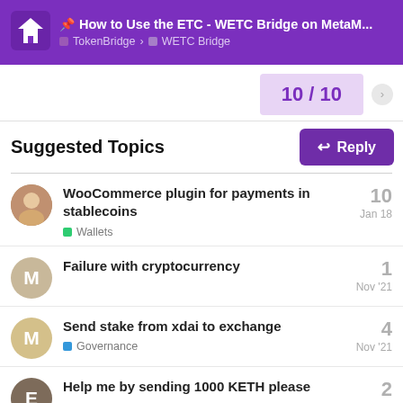📌 How to Use the ETC - WETC Bridge on MetaM... | TokenBridge > WETC Bridge
10 / 10
Reply
Suggested Topics
WooCommerce plugin for payments in stablecoins | Wallets | Jan 18 | 10
Failure with cryptocurrency | Nov '21 | 1
Send stake from xdai to exchange | Governance | Nov '21 | 4
Help me by sending 1000 KETH please | 2